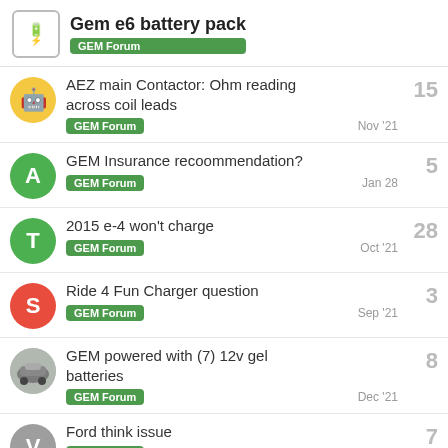Gem e6 battery pack — GEM Forum
AEZ main Contactor: Ohm reading across coil leads | GEM Forum | Nov '21 | 15
GEM Insurance recoommendation? | GEM Forum | Jan 28 | 5
2015 e-4 won't charge | GEM Forum | Oct '21 | 28
Ride 4 Fun Charger question | GEM Forum | Sep '21 | 3
GEM powered with (7) 12v gel batteries | GEM Forum | Dec '21 | 8
Ford think issue | GEM Forum | 7